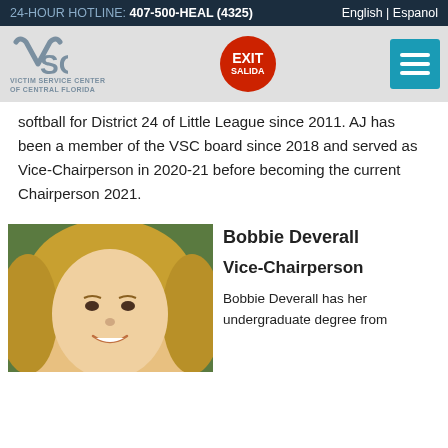24-HOUR HOTLINE: 407-500-HEAL (4325) | English | Espanol
[Figure (logo): VSC Victim Service Center of Central Florida logo with EXIT/SALIDA red circle button and teal hamburger menu button]
softball for District 24 of Little League since 2011. AJ has been a member of the VSC board since 2018 and served as Vice-Chairperson in 2020-21 before becoming the current Chairperson 2021.
[Figure (photo): Headshot photo of Bobbie Deverall, a woman with blonde hair, smiling]
Bobbie Deverall
Vice-Chairperson
Bobbie Deverall has her undergraduate degree from